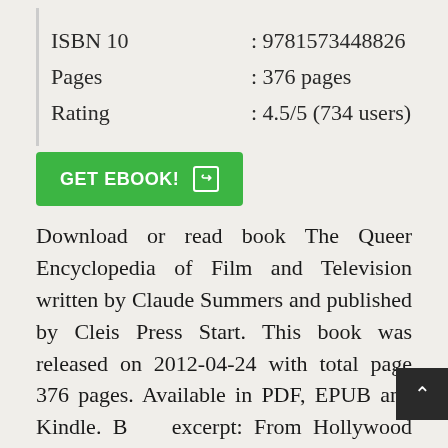| ISBN 10 | : 9781573448826 |
| Pages | : 376 pages |
| Rating | : 4.5/5 (734 users) |
[Figure (other): Green 'GET EBOOK!' button with arrow icon]
Download or read book The Queer Encyclopedia of Film and Television written by Claude Summers and published by Cleis Press Start. This book was released on 2012-04-24 with total page 376 pages. Available in PDF, EPUB and Kindle. Book excerpt: From Hollywood films to TV soap operas, from Vegas extravaganzas, to